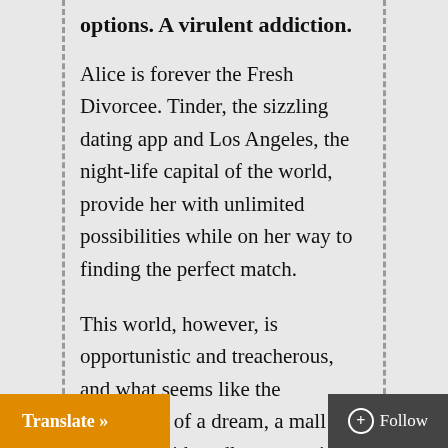options. A virulent addiction.
Alice is forever the Fresh Divorcee. Tinder, the sizzling dating app and Los Angeles, the night-life capital of the world, provide her with unlimited possibilities while on her way to finding the perfect match.
This world, however, is opportunistic and treacherous, and what seems like the realization of a dream, a mall full of males with endless attractive options, soon proves to be no simple